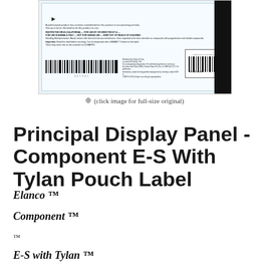[Figure (photo): Photograph of a pharmaceutical pouch label showing barcodes, warning text, and product information for Component E-S with Tylan. Contains two barcodes, arrows, and a black stripe on the right side.]
(click image for full-size original)
Principal Display Panel - Component E-S With Tylan Pouch Label
Elanco ™
Component ™
™
E-S with Tylan ™